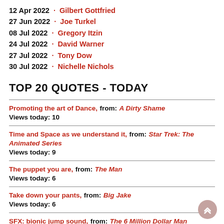12 Apr 2022 · Gilbert Gottfried
27 Jun 2022 · Joe Turkel
08 Jul 2022 · Gregory Itzin
24 Jul 2022 · David Warner
27 Jul 2022 · Tony Dow
30 Jul 2022 · Nichelle Nichols
TOP 20 QUOTES - TODAY
Promoting the art of Dance, from: A Dirty Shame
Views today: 10
Time and Space as we understand it, from: Star Trek: The Animated Series
Views today: 9
The puppet you are, from: The Man
Views today: 6
Take down your pants, from: Big Jake
Views today: 6
SFX: bionic jump sound, from: The 6 Million Dollar Man